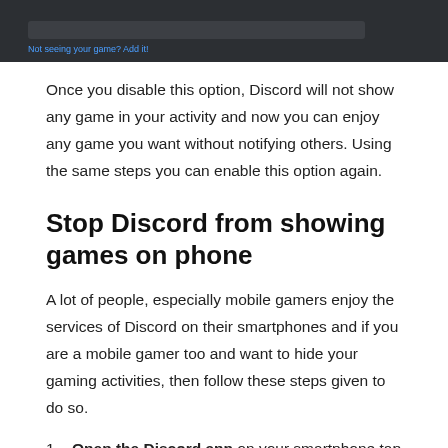[Figure (screenshot): Screenshot of Discord game activity settings panel — dark theme with a search bar and 'Not seeing your game? Add it!' link in blue]
Once you disable this option, Discord will not show any game in your activity and now you can enjoy any game you want without notifying others. Using the same steps you can enable this option again.
Stop Discord from showing games on phone
A lot of people, especially mobile gamers enjoy the services of Discord on their smartphones and if you are a mobile gamer too and want to hide your gaming activities, then follow these steps given to do so.
Open the Discord app on your smartphone tap